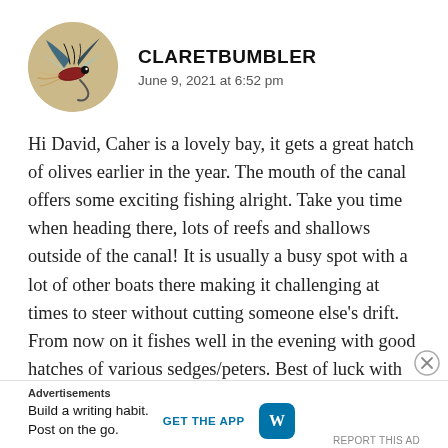[Figure (photo): Circular avatar showing a colorful fly fishing lure/fly on a beige background]
CLARETBUMBLER
June 9, 2021 at 6:52 pm
Hi David, Caher is a lovely bay, it gets a great hatch of olives earlier in the year. The mouth of the canal offers some exciting fishing alright. Take you time when heading there, lots of reefs and shallows outside of the canal! It is usually a busy spot with a lot of other boats there making it challenging at times to steer without cutting someone else’s drift. From now on it fishes well in the evening with good hatches of various sedges/peters. Best of luck with
Advertisements
Build a writing habit. Post on the go. GET THE APP